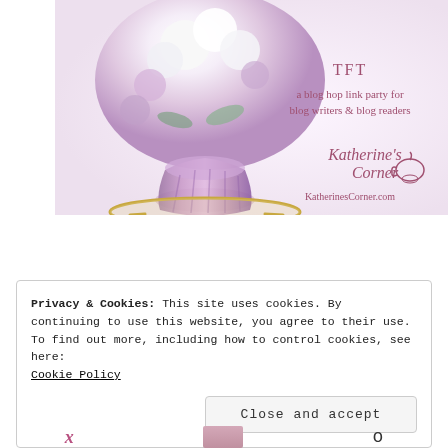[Figure (illustration): Blog hop link party banner image for KatherinesCorner.com. Shows a pink glass vase with white and purple hydrangeas/flowers on a gold side table. Text reads 'TFT a blog hop link party for blog writers & blog readers' and 'Katherine's Corner KatherinesCorner.com'.]
Privacy & Cookies: This site uses cookies. By continuing to use this website, you agree to their use.
To find out more, including how to control cookies, see here:
Cookie Policy
Close and accept